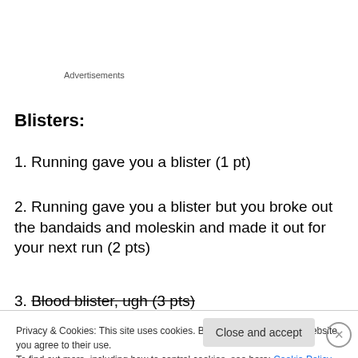Advertisements
Blisters:
Running gave you a blister (1 pt)
Running gave you a blister but you broke out the bandaids and moleskin and made it out for your next run (2 pts)
Blood blister, ugh (3 pts)
Privacy & Cookies: This site uses cookies. By continuing to use this website, you agree to their use.
To find out more, including how to control cookies, see here: Cookie Policy
Close and accept